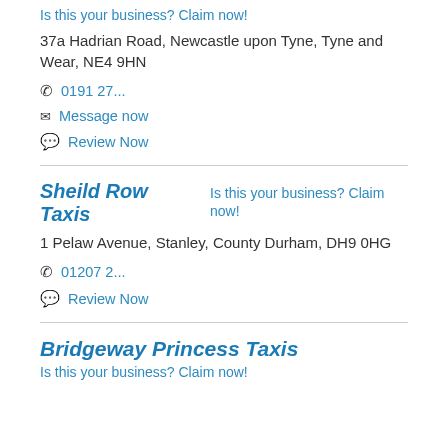Is this your business? Claim now!
37a Hadrian Road, Newcastle upon Tyne, Tyne and Wear, NE4 9HN
0191 27...
Message now
Review Now
Sheild Row Taxis
Is this your business? Claim now!
1 Pelaw Avenue, Stanley, County Durham, DH9 0HG
01207 2...
Review Now
Bridgeway Princess Taxis
Is this your business? Claim now!